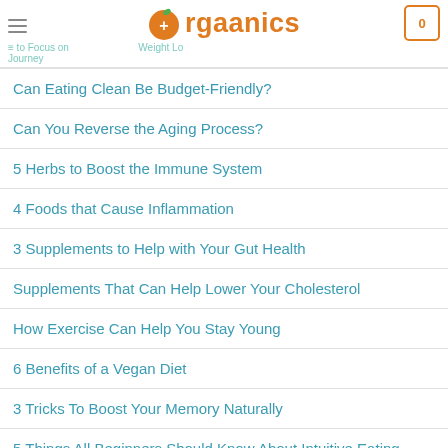Orgaanics — How to Focus on Weight Loss Journey
Can Eating Clean Be Budget-Friendly?
Can You Reverse the Aging Process?
5 Herbs to Boost the Immune System
4 Foods that Cause Inflammation
3 Supplements to Help with Your Gut Health
Supplements That Can Help Lower Your Cholesterol
How Exercise Can Help You Stay Young
6 Benefits of a Vegan Diet
3 Tricks To Boost Your Memory Naturally
5 Things All Beginners Should Know About Intuitive Eating